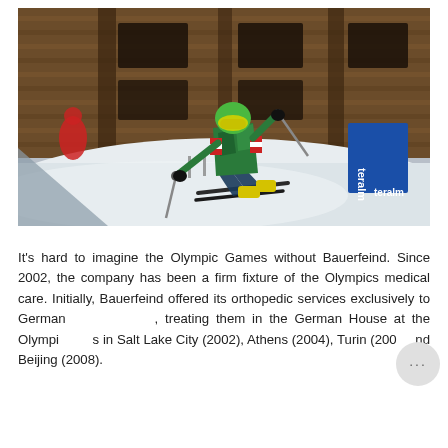[Figure (photo): A skier in a colorful green and black patterned suit with Austrian flag accents, wearing a green helmet and goggles, skiing down a snowy slope in front of a wooden alpine building. A blue 'teralm' banner is visible in the background. Another skier in red is partially visible on the left.]
It's hard to imagine the Olympic Games without Bauerfeind. Since 2002, the company has been a firm fixture of the Olympics medical care. Initially, Bauerfeind offered its orthopedic services exclusively to German athletes, treating them in the German House at the Olympic Games in Salt Lake City (2002), Athens (2004), Turin (2006), and Beijing (2008).